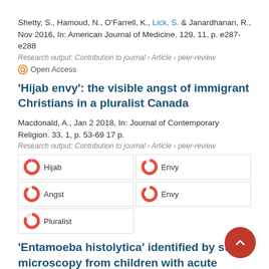Shetty, S., Hamoud, N., O'Farrell, K., Lick, S. & Janardhanan, R., Nov 2016, In: American Journal of Medicine. 129, 11, p. e287-e288
Research output: Contribution to journal › Article › peer-review
Open Access
'Hijab envy': the visible angst of immigrant Christians in a pluralist Canada
Macdonald, A., Jan 2 2018, In: Journal of Contemporary Religion. 33, 1, p. 53-69 17 p.
Research output: Contribution to journal › Article › peer-review
Hijab
Envy
Angst
Envy
Pluralist
'Entamoeba histolytica' identified by stool microscopy from children with acute diarrhoea in